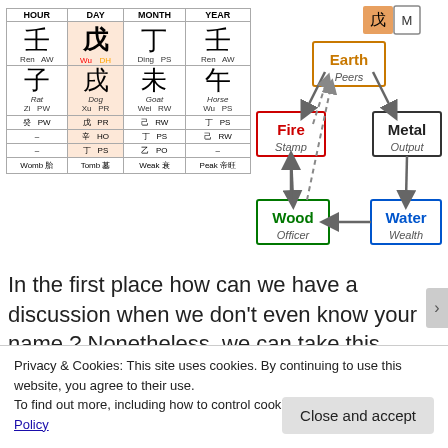| HOUR | DAY | MONTH | YEAR |
| --- | --- | --- | --- |
| 壬 Ren AW | 戊 Wu DH | 丁 Ding PS | 壬 Ren AW |
| 子 Rat Zi PW | 戌 Dog Xu PR | 未 Goat Wei RW | 午 Horse Wu PS |
| 癸 PW | 戊 PR / 辛 HO / 丁 PS | 己 RW / 丁 PS / 乙 PO | 丁 PS / 己 RW / – |
| Womb 阳 | Tomb 墓 | Weak 衰 | Peak 帝旺 |
[Figure (flowchart): Five elements diagram showing Earth (Peers) at top center, Fire (Stamp) at left, Metal (Output) at right, Wood (Officer) at bottom-left, Water (Wealth) at bottom-right, with arrows indicating elemental relationships. Top-right shows 戊 M badge.]
In the first place how can we have a discussion when we don't even know your name ? Nonetheless, we can take this opportunity to share a little how
Privacy & Cookies: This site uses cookies. By continuing to use this website, you agree to their use.
To find out more, including how to control cookies, see here: Cookie Policy
Close and accept